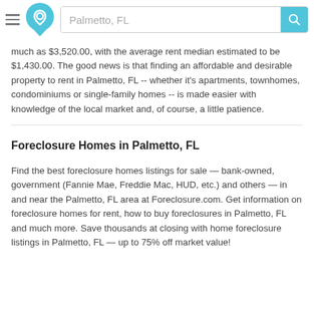Palmetto, FL
much as $3,520.00, with the average rent median estimated to be $1,430.00. The good news is that finding an affordable and desirable property to rent in Palmetto, FL -- whether it's apartments, townhomes, condominiums or single-family homes -- is made easier with knowledge of the local market and, of course, a little patience.
Foreclosure Homes in Palmetto, FL
Find the best foreclosure homes listings for sale — bank-owned, government (Fannie Mae, Freddie Mac, HUD, etc.) and others — in and near the Palmetto, FL area at Foreclosure.com. Get information on foreclosure homes for rent, how to buy foreclosures in Palmetto, FL and much more. Save thousands at closing with home foreclosure listings in Palmetto, FL — up to 75% off market value!